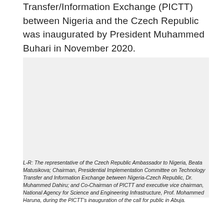Transfer/Information Exchange (PICTT) between Nigeria and the Czech Republic was inaugurated by President Muhammed Buhari in November 2020.
[Figure (photo): Photograph of event attendees at the inauguration of the Presidential Implementation Committee on Technology Transfer and Information Exchange (PICTT) call for public in Abuja.]
L-R: The representative of the Czech Republic Ambassador to Nigeria, Beata Matusikova; Chairman, Presidential Implementation Committee on Technology Transfer and Information Exchange between Nigeria-Czech Republic, Dr. Muhammed Dahiru; and Co-Chairman of PICTT and executive vice chairman, National Agency for Science and Engineering Infrastructure, Prof. Mohammed Haruna, during the PICTT's inauguration of the call for public in Abuja.